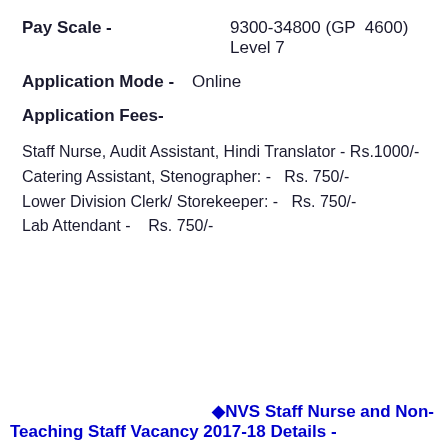Pay Scale -     9300-34800 (GP  4600) Level 7
Application Mode -    Online
Application Fees-
Staff Nurse, Audit Assistant, Hindi Translator - Rs.1000/-
Catering Assistant, Stenographer: -   Rs. 750/-
Lower Division Clerk/ Storekeeper: -   Rs. 750/-
Lab Attendant -    Rs. 750/-
♦ NVS Staff Nurse and Non-Teaching Staff Vacancy 2017-18 Details -